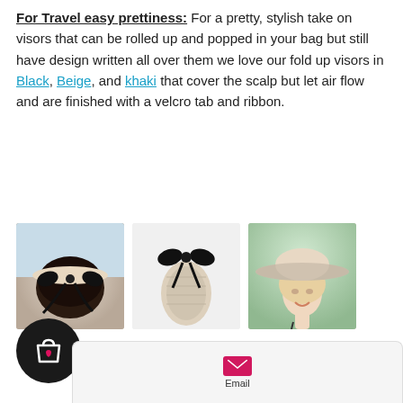For Travel easy prettiness: For a pretty, stylish take on visors that can be rolled up and popped in your bag but still have design written all over them we love our fold up visors in Black, Beige, and khaki that cover the scalp but let air flow and are finished with a velcro tab and ribbon.
[Figure (photo): Three product photos of fold-up sun visors: left photo shows back of woman's head wearing a beige visor with black bow ribbon; center photo shows folded/rolled beige visor with black bow ribbon on white background; right photo shows woman wearing wide-brim beige sun hat smiling.]
2. Packable Woven,